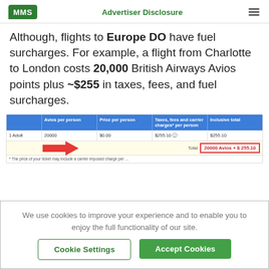MMS  Advertiser Disclosure
Although, flights to Europe DO have fuel surcharges.  For example, a flight from Charlotte to London costs 20,000 British Airways Avios points plus ~$255 in taxes, fees, and fuel surcharges.
[Figure (screenshot): Screenshot of British Airways booking table showing 1 Adult, 20000 Avios per person, $0.00 price per person, $255.10 taxes/fees/carrier charges, $255.10 inclusive total. Total row highlighted: 20000 Avios + $ 255.10 in red box with red arrow pointing to it.]
We use cookies to improve your experience and to enable you to enjoy the full functionality of our site.
Cookie Settings
Accept Cookies